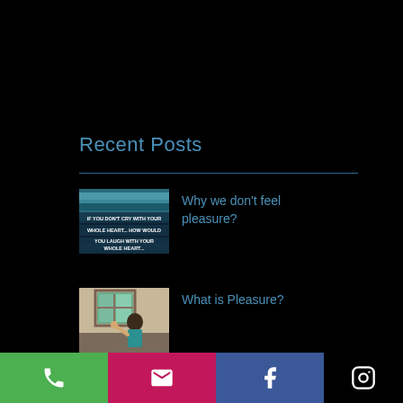Recent Posts
[Figure (photo): Thumbnail image with text overlay: IF YOU DON'T CRY WITH YOUR WHOLE HEART... HOW WOULD YOU LAUGH WITH YOUR WHOLE HEART...]
Why we don't feel pleasure?
[Figure (photo): Thumbnail photo of a woman in a teal top sitting near a window with her hand raised]
What is Pleasure?
[Figure (infographic): Footer bar with phone icon (green), email icon (pink/magenta), Facebook icon (blue), and Instagram icon (black)]